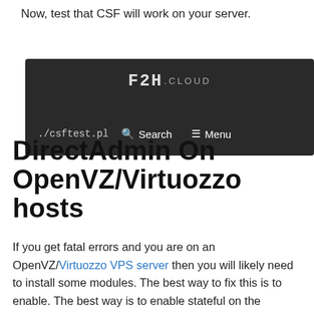Now, test that CSF will work on your server.
[Figure (screenshot): Dark navigation bar for F2H.CLOUD website showing logo, ./csftest.pl path, Search and Menu options]
DirectAdmin On OpenVZ/Virtuozzo hosts
If you get fatal errors and you are on an OpenVZ/Virtuozzo VPS server then you will likely need to install some modules. The best way to fix this is to enable. The best way is to enable stateful on the container. First, stop the container. You need access to the host node to enable this module. If you do not run the node contact your provider.